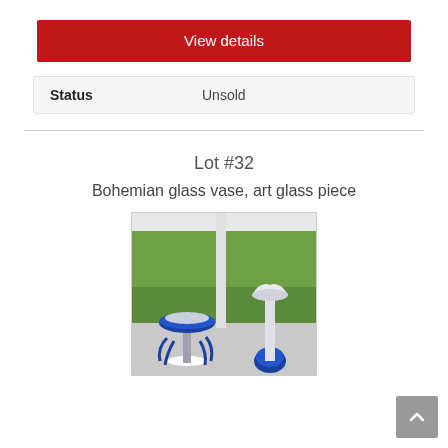View details
| Status | Unsold |
| --- | --- |
Lot #32
Bohemian glass vase, art glass piece
[Figure (photo): Two Bohemian art glass pieces on a windowsill: a blue bowl-shaped piece on twisted blue glass legs, and a white/clear vase with a blue globe base, with green trees visible outside the window.]